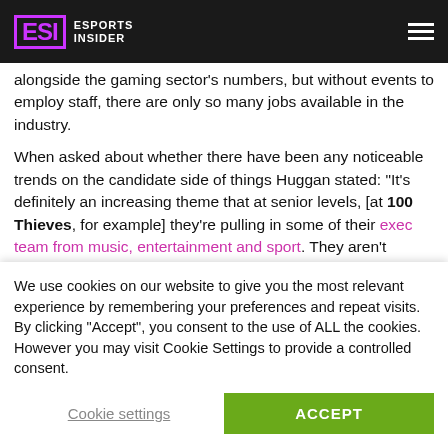ESI Esports Insider
alongside the gaming sector's numbers, but without events to employ staff, there are only so many jobs available in the industry.
When asked about whether there have been any noticeable trends on the candidate side of things Huggan stated: “It’s definitely an increasing theme that at senior levels, [at 100 Thieves, for example] they’re pulling in some of their exec team from music, entertainment and sport. They aren’t necessarily going out and hiring a bunch of esports people to lead the company. Across the space, we are seeing this [trend] more and more.”
[Figure (photo): Partial view of a building exterior with gray/dark cladding panels]
We use cookies on our website to give you the most relevant experience by remembering your preferences and repeat visits. By clicking “Accept”, you consent to the use of ALL the cookies. However you may visit Cookie Settings to provide a controlled consent.